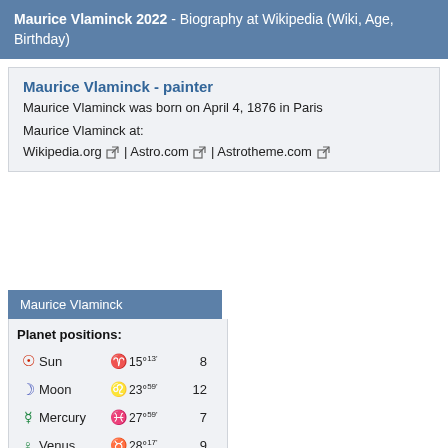Maurice Vlaminck 2022 - Biography at Wikipedia (Wiki, Age, Birthday)
Maurice Vlaminck - painter
Maurice Vlaminck was born on April 4, 1876 in Paris
Maurice Vlaminck at:
Wikipedia.org | Astro.com | Astrotheme.com
Maurice Vlaminck
| Planet | Sign | Degree | House |
| --- | --- | --- | --- |
| Sun | Aries | 15°13' | 8 |
| Moon | Leo | 23°59' | 12 |
| Mercury | Pisces | 27°59' | 7 |
| Venus | Taurus | 28°17' | 9 |
| Mars | Taurus | 25°25' | 9 |